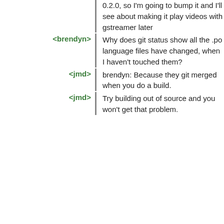0.2.0, so I'm going to bump it and I'll see about making it play videos with gstreamer later
<brendyn> Why does git status show all the .po language files have changed, when I haven't touched them?
<jmd> brendyn: Because they git merged when you do a build.
<jmd> Try building out of source and you won't get that problem.